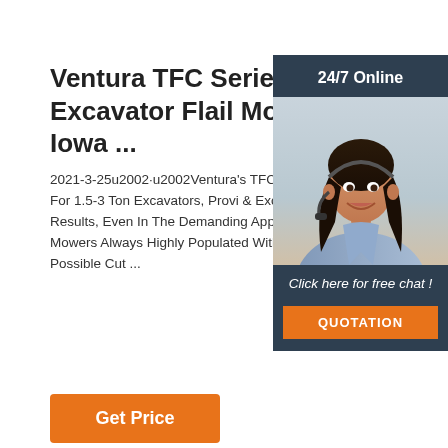Ventura TFC Series Mini Excavator Flail Mowers -- Iowa ...
2021-3-25u2002·u2002Ventura's TFC Series A Perfect Match For 1.5-3 Ton Excavators, Provi & Excellent Single Pass Results, Even In The Demanding Applications! Ventura Flail Mowers Always Highly Populated With Blades to Provi Possible Cut ...
[Figure (infographic): Customer service representative with headset, dark-haired woman smiling, displayed in a dark blue sidebar panel with '24/7 Online' header, 'Click here for free chat!' text, and an orange QUOTATION button]